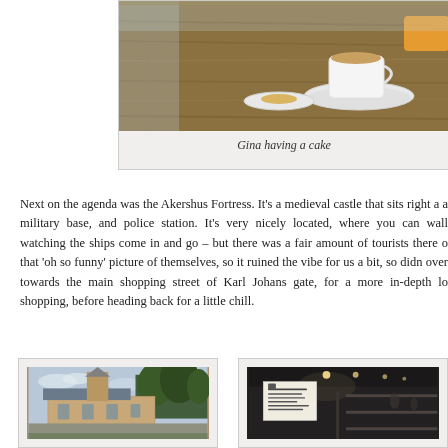[Figure (photo): Photo of a cafe table with a coffee cup and cake on wooden surface, partial view]
Gina having a cake
Next on the agenda was the Akershus Fortress. It's a medieval castle that sits right a a military base, and police station. It's very nicely located, where you can wall watching the ships come in and go – but there was a fair amount of tourists there o that 'oh so funny' picture of themselves, so it ruined the vibe for us a bit, so didn over towards the main shopping street of Karl Johans gate, for a more in-depth lo shopping, before heading back for a little chill.
[Figure (photo): Photo of Akershus Fortress medieval castle exterior with trees]
[Figure (photo): Interior dark photo, possibly a bookshop or library with signs]